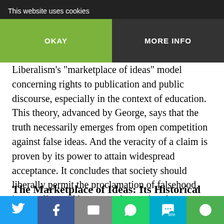But this constituted a finite point of social doctrine on ... diverge from their.
...the Church has long rejected Liberalism's "marketplace of ideas" model concerning rights to publication and public discourse, especially in the context of education. This theory, advanced by George, says that the truth necessarily emerges from open competition against false ideas. And the veracity of a claim is proven by its power to attain widespread acceptance. It concludes that society should liberally permit the proclamation of falsehood, immorality, and base speech, trusting that most will distinguish the good from the bad, the true from false.
The Marketplace of Ideas: Its Historical ...